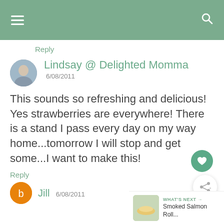[Figure (screenshot): Green top navigation bar with hamburger menu icon on left and search icon on right]
Reply
Lindsay @ Delighted Momma
6/08/2011
This sounds so refreshing and delicious! Yes strawberries are everywhere! There is a stand I pass every day on my way home...tomorrow I will stop and get some...I want to make this!
Reply
Jill  6/08/2011